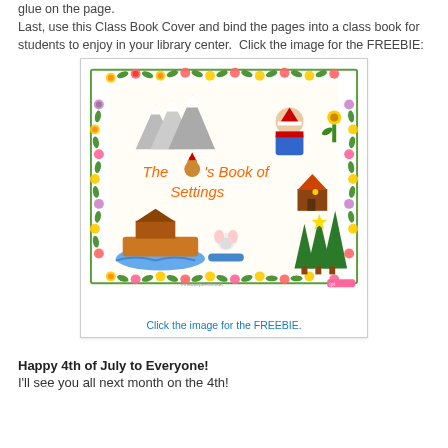glue on the page.
Last, use this Class Book Cover and bind the pages into a class book for students to enjoy in your library center.  Click the image for the FREEBIE:
[Figure (illustration): A colorful children's book cover titled 'The [gingerbread man]'s Book of Settings' decorated with a floral border. The cover shows various story settings including mountains, a Christmas scene, Noah's ark, forests with Christmas trees, and characters.]
Click the image for the FREEBIE.
Happy 4th of July to Everyone!
I'll see you all next month on the 4th!